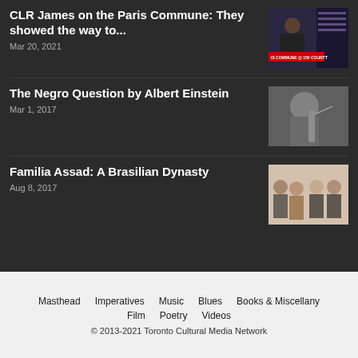CLR James on the Paris Commune: They showed the way to...
Mar 20, 2021
[Figure (photo): Photo related to Paris Commune at 150, with red banner reading 'THE COMMUNE @ 150' and 'COUNTRE']
The Negro Question by Albert Einstein
Mar 1, 2017
[Figure (photo): Black and white photo of Albert Einstein playing violin]
Familia Assad: A Brasilian Dynasty
Aug 8, 2017
[Figure (photo): Group photo of the Assad family musicians posing together]
Masthead   Imperatives   Music   Blues   Books & Miscellany   Film   Poetry   Videos
© 2013-2021 Toronto Cultural Media Network